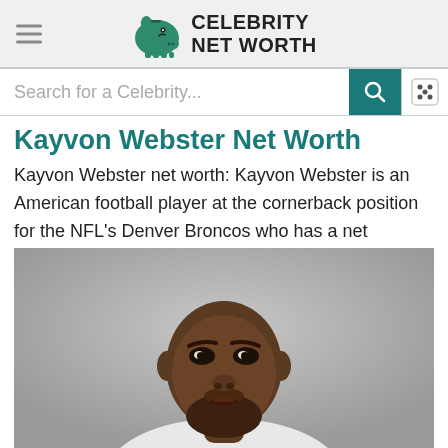Celebrity Net Worth
Search for a Celebrity...
Kayvon Webster Net Worth
Kayvon Webster net worth: Kayvon Webster is an American football player at the cornerback position for the NFL's Denver Broncos who has a net
[Figure (photo): Headshot photo of Kayvon Webster, a young Black male athlete, against a gray background, wearing a white shirt. The image is cropped at the shoulders.]